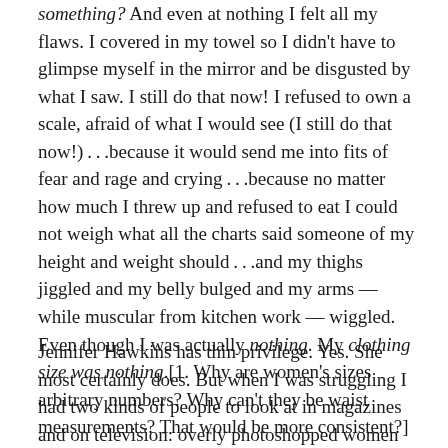something? And even at nothing I felt all my flaws. I covered in my towel so I didn't have to glimpse myself in the mirror and be disgusted by what I saw. I still do that now! I refused to own a scale, afraid of what I would see (I still do that now!)...because it would send me into fits of fear and rage and crying...because no matter how much I threw up and refused to eat I could not weigh what all the charts said someone of my height and weight should...and my thighs jiggled and my belly bulged and my arms — while muscular from kitchen work — wiggled. Even though I was actually nothing. My clothing size was nothing.[1. Why are women's sizes arbitrary numbers? Why can't they be waist measurements? That would be more consistent?]
Jennifer Hawkins has thin privilege. Yes. She most certainly does. But when I was struggling I had two kinds of people to look at in magazines and on television: overly photoshopped women who were too perfect, and purposefully imperfect women meant to make me hate